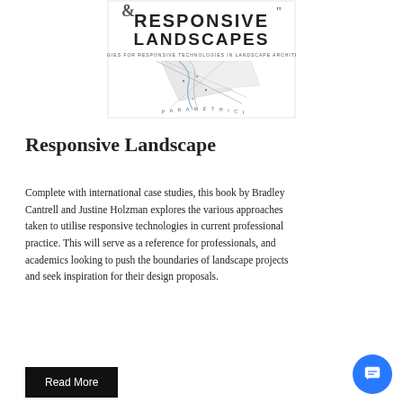[Figure (illustration): Book cover for 'Responsive Landscapes: Strategies for Responsive Technologies in Landscape Architecture' by Bradley Cantrell and Justine Holzman, with geometric/parametric landscape line art design]
Responsive Landscape
Complete with international case studies, this book by Bradley Cantrell and Justine Holzman explores the various approaches taken to utilise responsive technologies in current professional practice. This will serve as a reference for professionals, and academics looking to push the boundaries of landscape projects and seek inspiration for their design proposals.
Read More